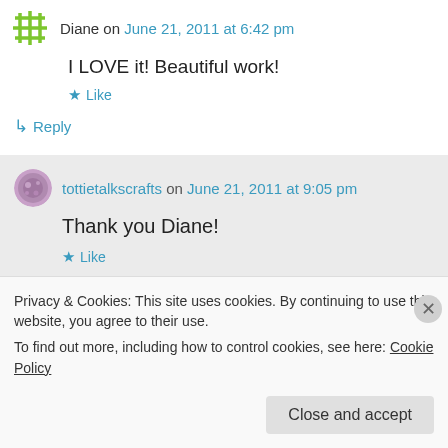Diane on June 21, 2011 at 6:42 pm
I LOVE it! Beautiful work!
★ Like
↳ Reply
tottietalkscrafts on June 21, 2011 at 9:05 pm
Thank you Diane!
★ Like
Privacy & Cookies: This site uses cookies. By continuing to use this website, you agree to their use. To find out more, including how to control cookies, see here: Cookie Policy
Close and accept